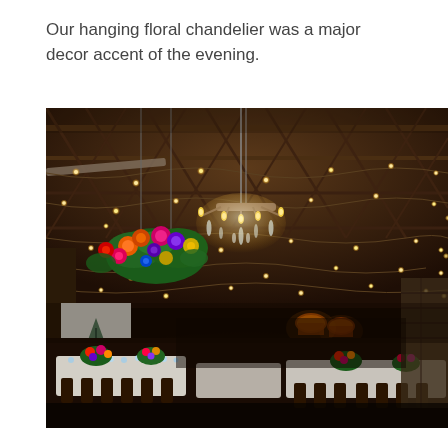Our hanging floral chandelier was a major decor accent of the evening.
[Figure (photo): Indoor event venue with dark wooden truss ceiling decorated with string lights and pendant bulbs. A crystal chandelier with lit candles hangs centrally. A large floral arrangement with colorful blooms hangs on the left side. Below are dining tables set with linens, glassware, and colorful floral centerpieces. A white projection screen with a geometric design is visible on the left. Orange lampshades glow warmly in the background.]